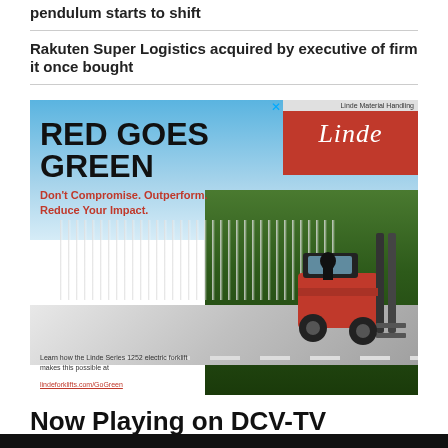pendulum starts to shift
Rakuten Super Logistics acquired by executive of firm it once bought
[Figure (illustration): Linde Material Handling advertisement featuring a red electric forklift truck driving on a road with a forest background. Headline: RED GOES GREEN. Subheadline: Don't Compromise. Outperform. Reduce Your Impact. Footer text: Learn how the Linde Series 1252 electric forklift makes this possible at lindeforklifts.com/GoGreen]
Now Playing on DCV-TV